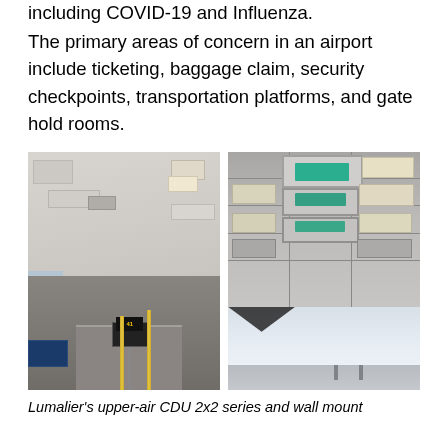including COVID-19 and Influenza.
The primary areas of concern in an airport include ticketing, baggage claim, security checkpoints, transportation platforms, and gate hold rooms.
[Figure (photo): Two side-by-side photos of an airport interior showing ceiling-mounted upper-air CDU 2x2 UVGI disinfection units installed in a gate hold room area. Left photo shows a wider view of the gate area with seating, monitor displays showing gate 41, and glass windows overlooking the tarmac. Right photo is a close-up of the ceiling showing multiple installed CDU units with teal/green UV light visible.]
Lumalier's upper-air CDU 2x2 series and wall mount